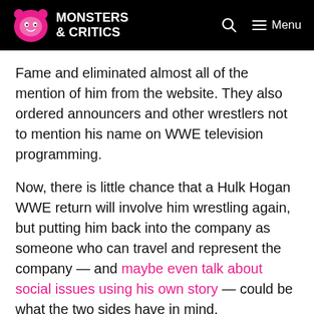Monsters & Critics — Menu
Fame and eliminated almost all of the mention of him from the website. They also ordered announcers and other wrestlers not to mention his name on WWE television programming.
Now, there is little chance that a Hulk Hogan WWE return will involve him wrestling again, but putting him back into the company as someone who can travel and represent the company — and maybe even talk about social issues using his own story — could be what the two sides have in mind.